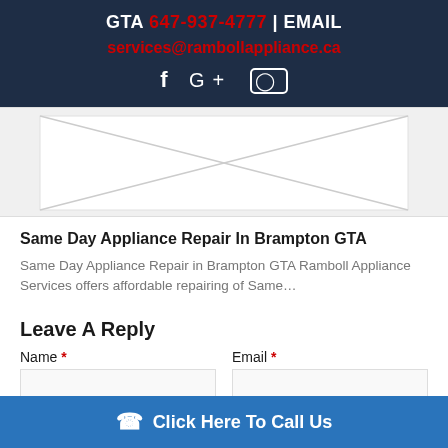GTA 647-937-4777 | EMAIL services@rambollappliance.ca
[Figure (photo): Image placeholder with diagonal lines pattern indicating an image not loaded]
Same Day Appliance Repair In Brampton GTA
Same Day Appliance Repair in Brampton GTA Ramboll Appliance Services offers affordable repairing of Same…
Leave A Reply
Name * Email *